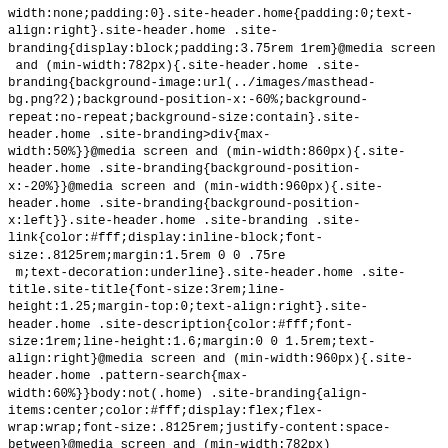width:none;padding:0}.site-header.home{padding:0;text-align:right}.site-header.home .site-branding{display:block;padding:3.75rem 1rem}@media screen and (min-width:782px){.site-header.home .site-branding{background-image:url(../images/masthead-bg.png?2);background-position-x:-60%;background-repeat:no-repeat;background-size:contain}.site-header.home .site-branding>div{max-width:50%}}@media screen and (min-width:860px){.site-header.home .site-branding{background-position-x:-20%}}@media screen and (min-width:960px){.site-header.home .site-branding{background-position-x:left}}.site-header.home .site-branding .site-link{color:#fff;display:inline-block;font-size:.8125rem;margin:1.5rem 0 0 .75re m;text-decoration:underline}.site-header.home .site-title.site-title{font-size:3rem;line-height:1.25;margin-top:0;text-align:right}.site-header.home .site-description{color:#fff;font-size:1rem;line-height:1.6;margin:0 0 1.5rem;text-align:right}@media screen and (min-width:960px){.site-header.home .pattern-search{max-width:60%}}body:not(.home) .site-branding{align-items:center;color:#fff;display:flex;flex-wrap:wrap;font-size:.8125rem;justify-content:space-between}@media screen and (min-width:782px){body:not(.home) .site-branding :first-child{flex-grow:1}}body:not(.home) .site-branding a{color:#fff}body:not(.home) .site-branding .sep{margin-right:.5rem;margin-left:.5rem}body:not(.home) .site-branding .site-